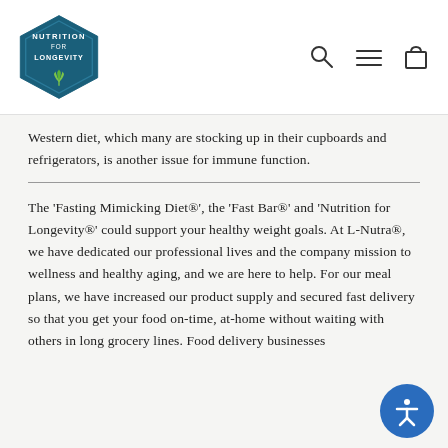Nutrition for Longevity — navigation header with logo and icons
Western diet, which many are stocking up in their cupboards and refrigerators, is another issue for immune function.
The 'Fasting Mimicking Diet®', the 'Fast Bar®' and 'Nutrition for Longevity®' could support your healthy weight goals. At L-Nutra®, we have dedicated our professional lives and the company mission to wellness and healthy aging, and we are here to help. For our meal plans, we have increased our product supply and secured fast delivery so that you get your food on-time, at-home without waiting with others in long grocery lines. Food delivery businesses